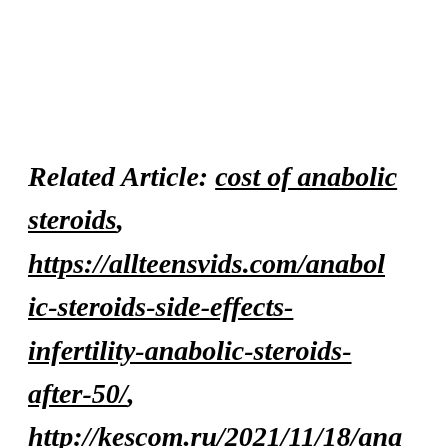Related Article: cost of anabolic steroids, https://allteensvids.com/anabolic-steroids-side-effects-infertility-anabolic-steroids-after-50/, http://kescom.ru/2021/11/18/ana